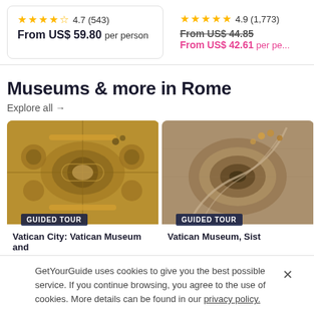4.7 (543) From US$ 59.80 per person
4.9 (1,773) From US$ 44.85 From US$ 42.61 per person
Museums & more in Rome
Explore all →
[Figure (photo): Ornate painted ceiling of Vatican Museum with circular frescoes]
GUIDED TOUR
Vatican City: Vatican Museum and
[Figure (photo): Spiral staircase of Vatican Museum with visitors]
GUIDED TOUR
Vatican Museum, Sist
GetYourGuide uses cookies to give you the best possible service. If you continue browsing, you agree to the use of cookies. More details can be found in our privacy policy.